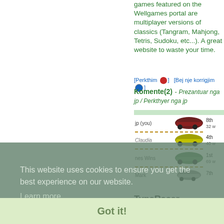games featured on the Wellgames portal are multiplayer versions of classics (Tangram, Mahjong, Tetris, Sudoku, etc...). A great website to waste your time.
[Perkthim] [Bej nje korrigjim]
Komente(2) - Prezantuar nga jp / Perkthyer nga jp
[Figure (screenshot): Race results showing jp (you) 8th 32, Claudia 4th 40, nes Wins 1st 69, Mark 7th - TypeRacer game screenshot with colored cars]
TypeRacer
This is a simple and very fun multiplayer game, to test your typing skills. Just type the text as quickly as possible to win the race agains 7 opponents. Tip : play
This website uses cookies to ensure you get the best experience on our website. Learn more
Got it!